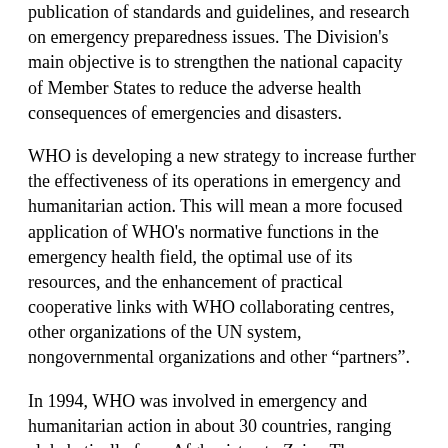publication of standards and guidelines, and research on emergency preparedness issues. The Division's main objective is to strengthen the national capacity of Member States to reduce the adverse health consequences of emergencies and disasters.
WHO is developing a new strategy to increase further the effectiveness of its operations in emergency and humanitarian action. This will mean a more focused application of WHO's normative functions in the emergency health field, the optimal use of its resources, and the enhancement of practical cooperative links with WHO collaborating centres, other organizations of the UN system, nongovernmental organizations and other “partners”.
In 1994, WHO was involved in emergency and humanitarian action in about 30 countries, ranging alphabetically from Afghanistan to Zaire. The following are some brief examples of WHO's work.
AFGHANISTAN: WHO helped organize